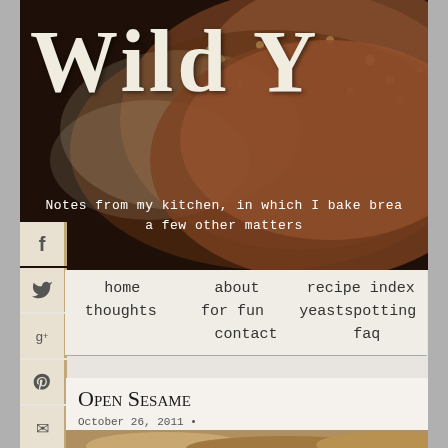[Figure (screenshot): Blog header banner with large distressed text 'Wild Y' (cropped) on a dark bread/food photo background]
Notes from my kitchen, in which I bake brea
a few other matters
home   about   recipe index
thoughts   for fun   yeastspotting
contact   faq
Open Sesame
October 26, 2011 •
[Figure (photo): Close-up photo of sesame seed bread loaf]